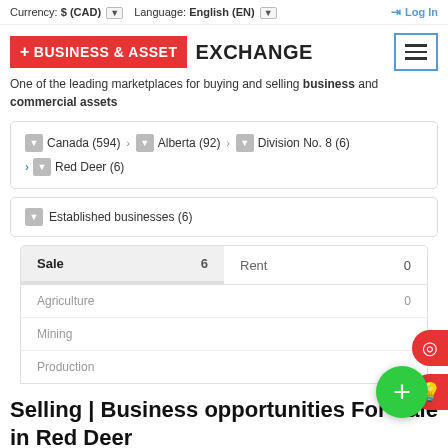Currency: $ (CAD) Language: English (EN) Log In
[Figure (logo): Business & Asset Exchange logo with red badge and menu icon]
One of the leading marketplaces for buying and selling business and commercial assets
Canada (594) > Alberta (92) > Division No. 8 (6) > Red Deer (6)
Established businesses (6)
| Sale | 6 | Rent | 0 |
| --- | --- | --- | --- |
| Agriculture |  |  | 0 |
| Mining |  |  |  |
| Production |  |  |  |
Selling | Business opportunities For Sale in Red Deer